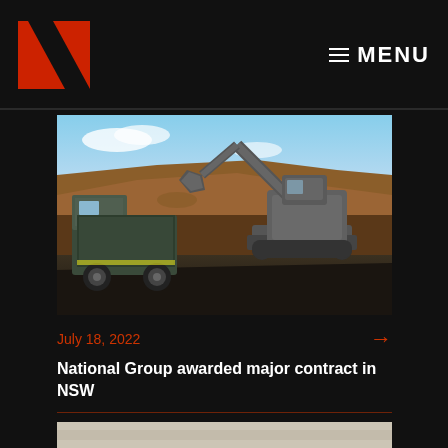MENU
[Figure (photo): Mining site photo showing a large excavator loading dirt into a massive dump truck at an open-cut mine, with reddish-brown earth and a blue sky with clouds in the background.]
July 18, 2022
National Group awarded major contract in NSW
[Figure (photo): Partial view of a second article image, light grey/beige background visible at bottom of page.]